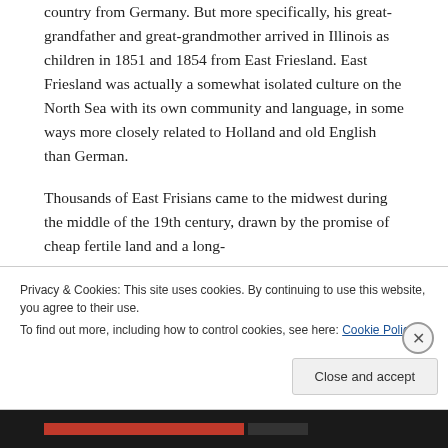country from Germany. But more specifically, his great-grandfather and great-grandmother arrived in Illinois as children in 1851 and 1854 from East Friesland. East Friesland was actually a somewhat isolated culture on the North Sea with its own community and language, in some ways more closely related to Holland and old English than German.
Thousands of East Frisians came to the midwest during the middle of the 19th century, drawn by the promise of cheap fertile land and a long-
Privacy & Cookies: This site uses cookies. By continuing to use this website, you agree to their use.
To find out more, including how to control cookies, see here: Cookie Policy